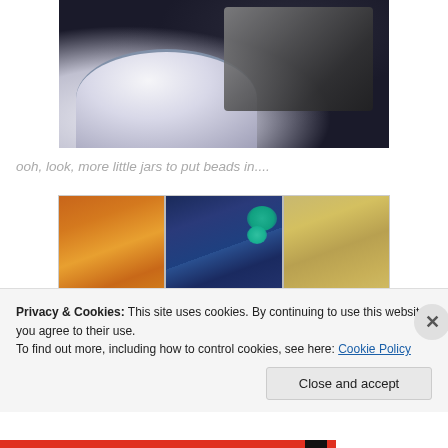[Figure (photo): Close-up photo of ceramic bowls and glass jars from above, dark background]
ooh, look, more little jars to put beads in....
[Figure (photo): A divided plastic container with three sections: amber/orange beads on the left, blue and teal beads in the middle, and gold jewelry/charms on the right]
Privacy & Cookies: This site uses cookies. By continuing to use this website, you agree to their use.
To find out more, including how to control cookies, see here: Cookie Policy